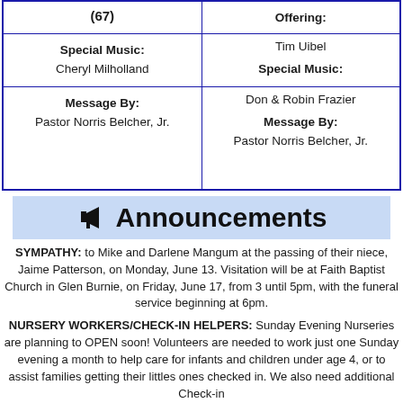|  |  |
| --- | --- |
| (67) | Offering: |
| Special Music: | Tim Uibel |
| Cheryl Milholland | Special Music: |
| Message By: | Don & Robin Frazier |
| Pastor Norris Belcher, Jr. | Message By: |
|  | Pastor Norris Belcher, Jr. |
🔔 Announcements
SYMPATHY: to Mike and Darlene Mangum at the passing of their niece, Jaime Patterson, on Monday, June 13. Visitation will be at Faith Baptist Church in Glen Burnie, on Friday, June 17, from 3 until 5pm, with the funeral service beginning at 6pm.
NURSERY WORKERS/CHECK-IN HELPERS: Sunday Evening Nurseries are planning to OPEN soon! Volunteers are needed to work just one Sunday evening a month to help care for infants and children under age 4, or to assist families getting their littles ones checked in. We also need additional Check-in